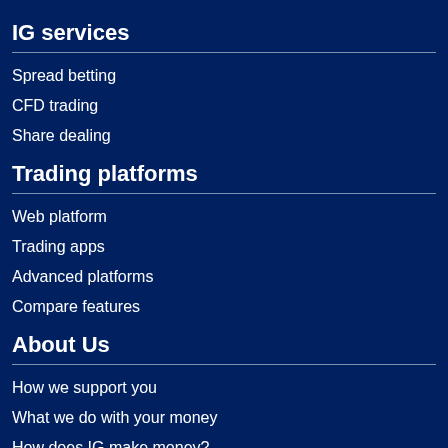IG services
Spread betting
CFD trading
Share dealing
Trading platforms
Web platform
Trading apps
Advanced platforms
Compare features
About Us
How we support you
What we do with your money
How does IG make money?
Professional trading